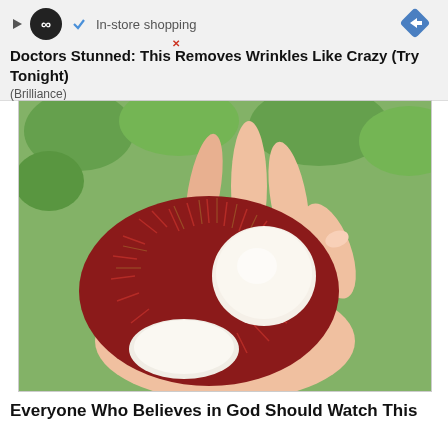[Figure (screenshot): Ad banner with play button, infinity loop icon, checkmark and 'In-store shopping' text, blue diamond arrow icon, and red X close button]
Doctors Stunned: This Removes Wrinkles Like Crazy (Try Tonight)
(Brilliance)
[Figure (photo): A hand holding open rambutan fruits showing red spiky exterior and white interior fruit flesh, with green foliage background]
Everyone Who Believes in God Should Watch This